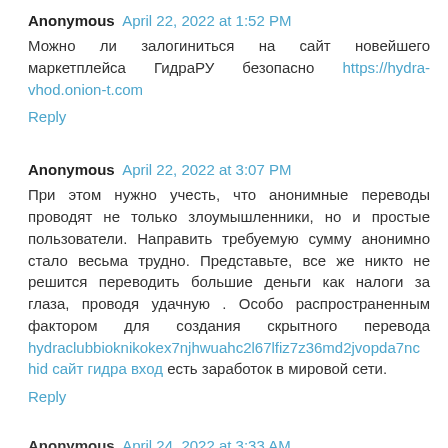Anonymous April 22, 2022 at 1:52 PM
Можно ли залогиниться на сайт новейшего маркетплейса ГидраРУ безопасно https://hydra-vhod.onion-t.com
Reply
Anonymous April 22, 2022 at 3:07 PM
При этом нужно учесть, что анонимные переводы проводят не только злоумышленники, но и простые пользователи. Направить требуемую сумму анонимно стало весьма трудно. Представьте, все же никто не решится переводить большие деньги как налоги за глаза, проводя удачную . Особо распространенным фактором для создания скрытного перевода hydraclubbioknikokex7njhwuahc2l67lfiz7z36md2jvopda7nc hid сайт гидра вход есть заработок в мировой сети.
Reply
Anonymous April 24, 2022 at ...